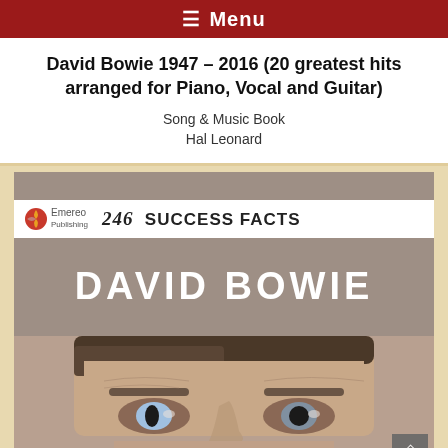☰ Menu
David Bowie 1947 – 2016 (20 greatest hits arranged for Piano, Vocal and Guitar)
Song & Music Book
Hal Leonard
[Figure (illustration): Book cover image for '246 Success Facts - David Bowie' published by Emereo Publishing, showing the Emereo logo, '246 SUCCESS FACTS' header, 'DAVID BOWIE' in large white text on taupe/grey background, and a close-up photo of David Bowie's face below.]